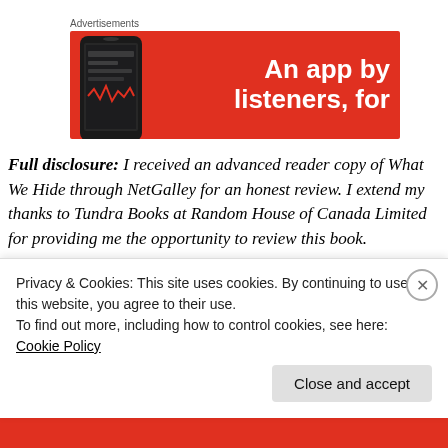[Figure (screenshot): Advertisement banner with red background showing a phone and text 'An app by listeners, for']
Full disclosure: I received an advanced reader copy of What We Hide through NetGalley for an honest review. I extend my thanks to Tundra Books at Random House of Canada Limited for providing me the opportunity to review this book.
Disclaimer: There may be spoilers inherent to this revi...
Privacy & Cookies: This site uses cookies. By continuing to use this website, you agree to their use. To find out more, including how to control cookies, see here: Cookie Policy
Close and accept